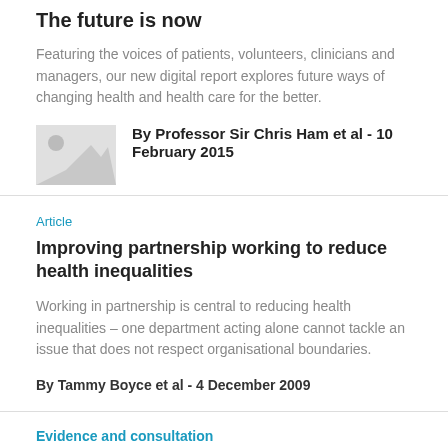The future is now
Featuring the voices of patients, volunteers, clinicians and managers, our new digital report explores future ways of changing health and health care for the better.
By Professor Sir Chris Ham et al - 10 February 2015
Article
Improving partnership working to reduce health inequalities
Working in partnership is central to reducing health inequalities – one department acting alone cannot tackle an issue that does not respect organisational boundaries.
By Tammy Boyce et al - 4 December 2009
Evidence and consultation